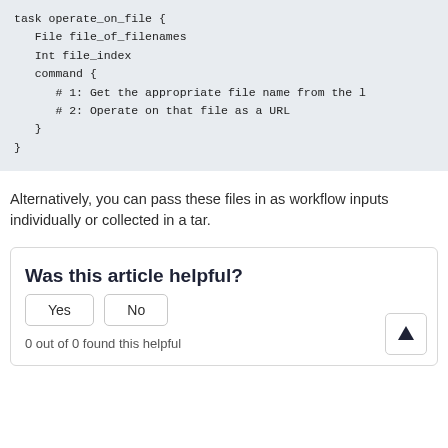task operate_on_file {
   File file_of_filenames
   Int file_index
   command {
      # 1: Get the appropriate file name from the l
      # 2: Operate on that file as a URL
   }
}
Alternatively, you can pass these files in as workflow inputs individually or collected in a tar.
Was this article helpful?
0 out of 0 found this helpful